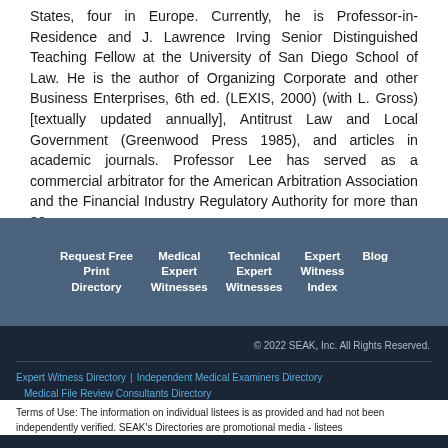States, four in Europe. Currently, he is Professor-in-Residence and J. Lawrence Irving Senior Distinguished Teaching Fellow at the University of San Diego School of Law. He is the author of Organizing Corporate and other Business Enterprises, 6th ed. (LEXIS, 2000) (with L. Gross) [textually updated annually], Antitrust Law and Local Government (Greenwood Press 1985), and articles in academic journals. Professor Lee has served as a commercial arbitrator for the American Arbitration Association and the Financial Industry Regulatory Authority for more than 30 years.
Request Free Print Directory
Medical Expert Witnesses
Technical Expert Witnesses
Expert Witness Index
Blog
© 2022 SEAK, Inc. All Rights Reserved.
Expert Witness Directory | Independent Medical Examiners Directory | Medical File Review Consultants Directory
Terms of Use: The information on individual listees is as provided and had not been independently verified. SEAK's Directories are promotional media - listees